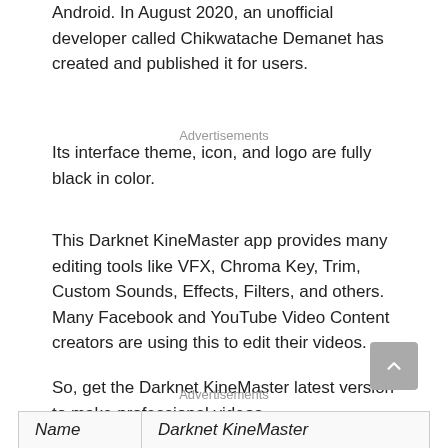Android. In August 2020, an unofficial developer called Chikwatache Demanet has created and published it for users.
Advertisements
Its interface theme, icon, and logo are fully black in color.
This Darknet KineMaster app provides many editing tools like VFX, Chroma Key, Trim, Custom Sounds, Effects, Filters, and others. Many Facebook and YouTube Video Content creators are using this to edit their videos.
So, get the Darknet KineMaster latest version to make professional videos.
Advertisements
| Name | Darknet KineMaster |
| --- | --- |